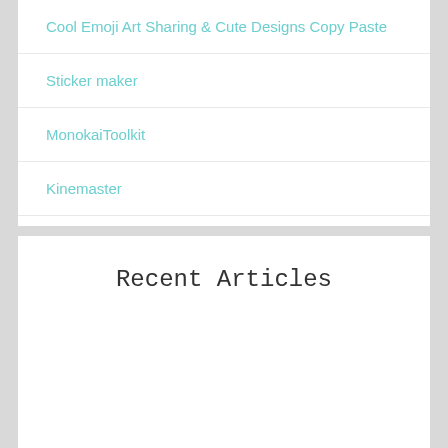Cool Emoji Art Sharing & Cute Designs Copy Paste
Sticker maker
MonokaiToolkit
Kinemaster
100 + Messages of Condolences for Loss of A Brother in Law
Recent Articles